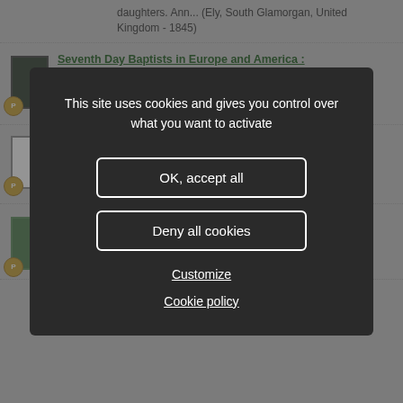daughters. Ann... (Ely, South Glamorgan, United Kingdom - 1845)
Seventh Day Baptists in Europe and America :
The biographical record of De Kalb County, Illinois
This site uses cookies and gives you control over what you want to activate
OK, accept all
Deny all cookies
Customize
Cookie policy